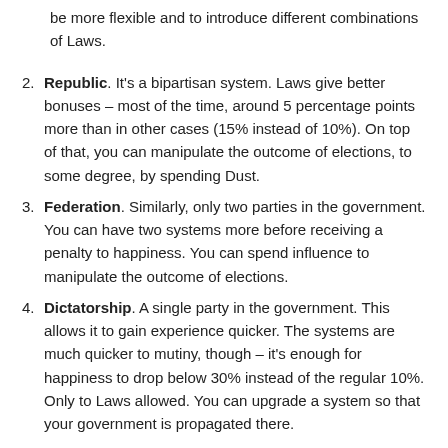(continuation) be more flexible and to introduce different combinations of Laws.
Republic. It's a bipartisan system. Laws give better bonuses – most of the time, around 5 percentage points more than in other cases (15% instead of 10%). On top of that, you can manipulate the outcome of elections, to some degree, by spending Dust.
Federation. Similarly, only two parties in the government. You can have two systems more before receiving a penalty to happiness. You can spend influence to manipulate the outcome of elections.
Dictatorship. A single party in the government. This allows it to gain experience quicker. The systems are much quicker to mutiny, though – it's enough for happiness to drop below 30% instead of the regular 10%. Only to Laws allowed. You can upgrade a system so that your government is propagated there.
There are six ideologies and as many parties in the game. If you have a hero that favors the given ideology, they will become